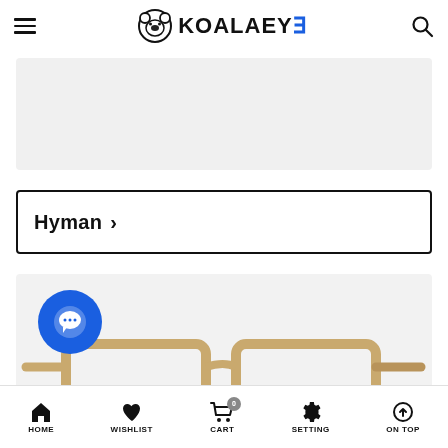KOALAEYE
[Figure (photo): Gray banner/advertisement placeholder area]
Hyman >
[Figure (photo): Product image of golden/beige rectangular eyeglasses frames on light gray background, with a blue circular chat support widget in the bottom-left corner]
HOME | WISHLIST | CART | SETTING | ON TOP